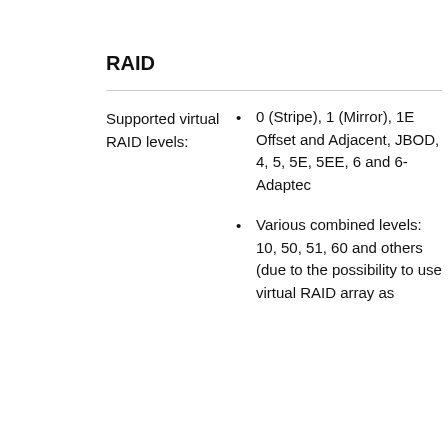RAID
Supported virtual RAID levels: 0 (Stripe), 1 (Mirror), 1E Offset and Adjacent, JBOD, 4, 5, 5E, 5EE, 6 and 6-Adaptec
Various combined levels: 10, 50, 51, 60 and others (due to the possibility to use virtual RAID array as